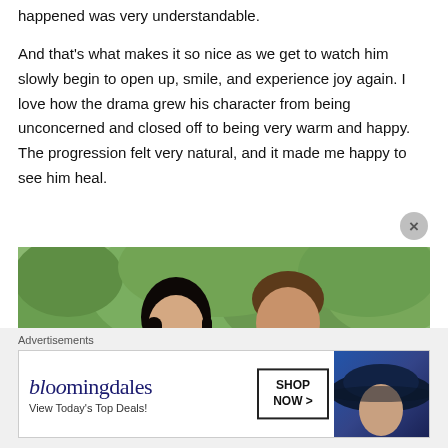The fear of getting involved with others because of what happened was very understandable.
And that's what makes it so nice as we get to watch him slowly begin to open up, smile, and experience joy again. I love how the drama grew his character from being unconcerned and closed off to being very warm and happy. The progression felt very natural, and it made me happy to see him heal.
[Figure (photo): Photo of a young woman and young man smiling outdoors with green trees in the background]
Advertisements
[Figure (screenshot): Bloomingdale's advertisement banner with text 'View Today's Top Deals!' and 'SHOP NOW >' button, featuring a woman with a wide-brimmed hat]